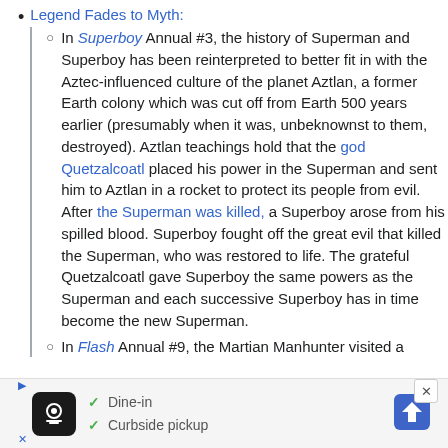Legend Fades to Myth:
In Superboy Annual #3, the history of Superman and Superboy has been reinterpreted to better fit in with the Aztec-influenced culture of the planet Aztlan, a former Earth colony which was cut off from Earth 500 years earlier (presumably when it was, unbeknownst to them, destroyed). Aztlan teachings hold that the god Quetzalcoatl placed his power in the Superman and sent him to Aztlan in a rocket to protect its people from evil. After the Superman was killed, a Superboy arose from his spilled blood. Superboy fought off the great evil that killed the Superman, who was restored to life. The grateful Quetzalcoatl gave Superboy the same powers as the Superman and each successive Superboy has in time become the new Superman.
In Flash Annual #9, the Martian Manhunter visited a
[Figure (other): Advertisement banner for a restaurant showing dine-in and curbside pickup options with a navigation icon]